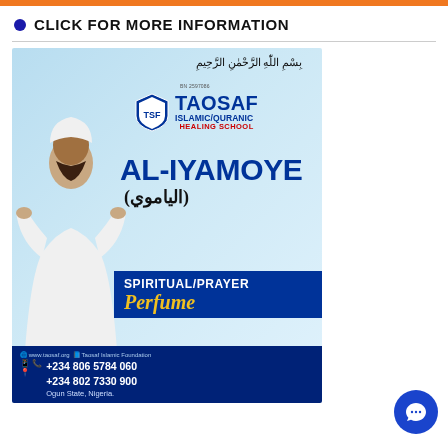CLICK FOR MORE INFORMATION
[Figure (illustration): Advertisement for TAOSAF Islamic/Quranic Healing School promoting AL-IYAMOYE (الياموي) Spiritual/Prayer Perfume. Shows a man in white Islamic attire praying with hands raised. Contact: +234 806 5784 060, +234 802 7330 900, Ogun State, Nigeria. www.taosaf.org]